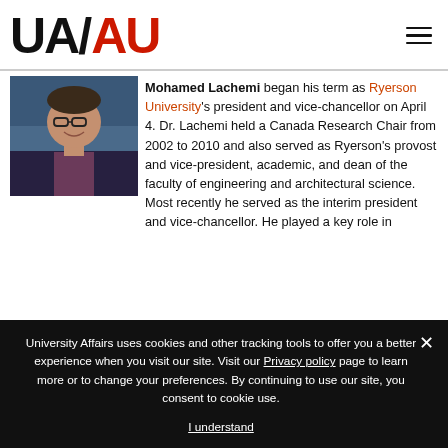[Figure (logo): UA/AU University Affairs logo — black 'UA' and red 'AU' bold text logo]
[Figure (photo): Headshot of Mohamed Lachemi, smiling man with glasses wearing a dark suit]
Mohamed Lachemi began his term as Ryerson University's president and vice-chancellor on April 4. Dr. Lachemi held a Canada Research Chair from 2002 to 2010 and also served as Ryerson's provost and vice-president, academic, and dean of the faculty of engineering and architectural science. Most recently he served as the interim president and vice-chancellor. He played a key role in
University Affairs uses cookies and other tracking tools to offer you a better experience when you visit our site. Visit our Privacy policy page to learn more or to change your preferences. By continuing to use our site, you consent to cookie use.
I understand